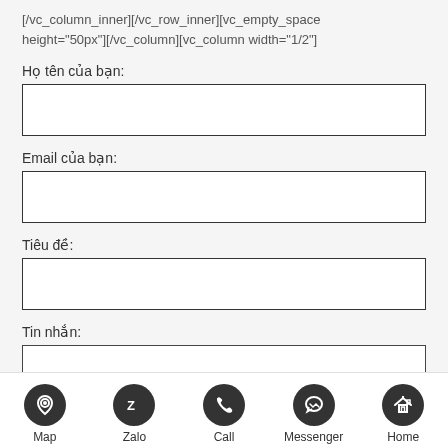[/vc_column_inner][/vc_row_inner][vc_empty_space height="50px"][/vc_column][vc_column width="1/2"]
Họ tên của bạn:
Email của bạn:
Tiêu đề:
Tin nhắn:
[Figure (screenshot): Bottom navigation bar with Map, Zalo, Call, Messenger, Home icons]